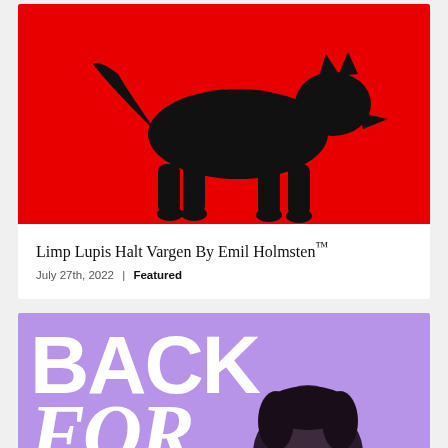[Figure (illustration): Red background with black wolf silhouette walking, article card cover image]
Limp Lupis Halt Vargen By Emil Holmsten™
July 27th, 2022 | Featured
[Figure (photo): Purple/lavender background with large white bold text reading BACK FOR and a person's head visible, article card cover image]